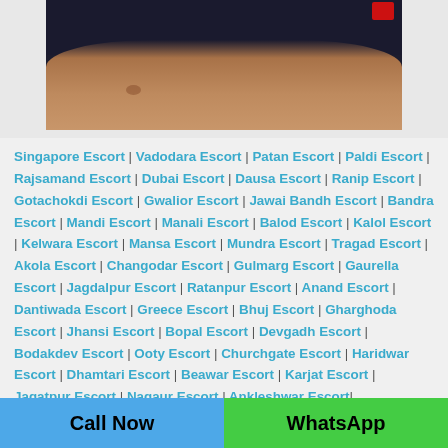[Figure (photo): Partial photo of a person wearing dark shorts, showing legs/thighs area with a small tattoo visible]
Singapore Escort | Vadodara Escort | Patan Escort | Paldi Escort | Rajsamand Escort | Dubai Escort | Dausa Escort | Ranip Escort | Gotachokdi Escort | Gwalior Escort | Jawai Bandh Escort | Bandra Escort | Mandi Escort | Manali Escort | Balod Escort | Kalol Escort | Kelwara Escort | Mansa Escort | Mundra Escort | Tragad Escort | Akola Escort | Changodar Escort | Gulmarg Escort | Gaurella Escort | Jagdalpur Escort | Ratanpur Escort | Anand Escort | Dantiwada Escort | Greece Escort | Bhuj Escort | Gharghoda Escort | Jhansi Escort | Bopal Escort | Devgadh Escort | Bodakdev Escort | Ooty Escort | Churchgate Escort | Haridwar Escort | Dhamtari Escort | Beawar Escort | Karjat Escort | Jagatpur Escort | Nagaur Escort | Ankleshwar Escort
Call Now
WhatsApp